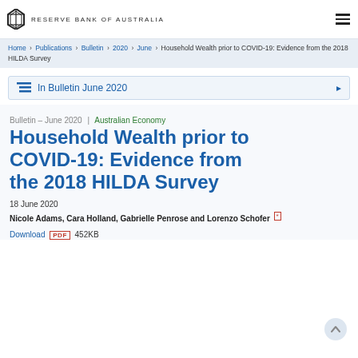RESERVE BANK OF AUSTRALIA
Home › Publications › Bulletin › 2020 › June › Household Wealth prior to COVID-19: Evidence from the 2018 HILDA Survey
In Bulletin June 2020
Bulletin – June 2020 | Australian Economy
Household Wealth prior to COVID-19: Evidence from the 2018 HILDA Survey
18 June 2020
Nicole Adams, Cara Holland, Gabrielle Penrose and Lorenzo Schofer [*]
Download PDF 452KB